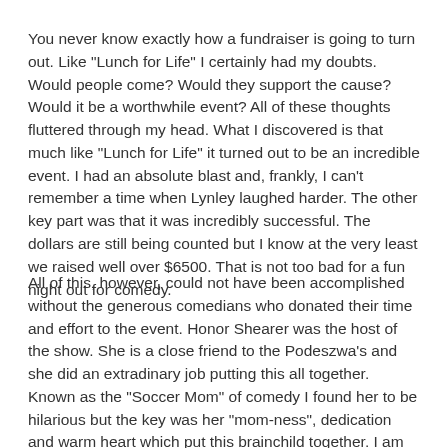You never know exactly how a fundraiser is going to turn out. Like "Lunch for Life" I certainly had my doubts. Would people come? Would they support the cause? Would it be a worthwhile event? All of these thoughts fluttered through my head. What I discovered is that much like "Lunch for Life" it turned out to be an incredible event. I had an absolute blast and, frankly, I can't remember a time when Lynley laughed harder. The other key part was that it was incredibly successful. The dollars are still being counted but I know at the very least we raised well over $6500. That is not too bad for a fun night out for comedy.
All of this, however, could not have been accomplished without the generous comedians who donated their time and effort to the event. Honor Shearer was the host of the show. She is a close friend to the Podeszwa's and she did an extradinary job putting this all together. Known as the "Soccer Mom" of comedy I found her to be hilarious but the key was her "mom-ness", dedication and warm heart which put this brainchild together. I am so thankful for all of her